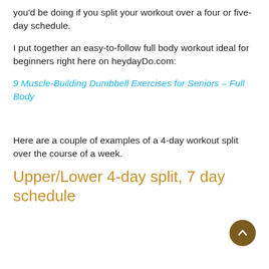you'd be doing if you split your workout over a four or five-day schedule.
I put together an easy-to-follow full body workout ideal for beginners right here on heydayDo.com:
9 Muscle-Building Dumbbell Exercises for Seniors – Full Body
Here are a couple of examples of a 4-day workout split over the course of a week.
Upper/Lower 4-day split, 7 day schedule